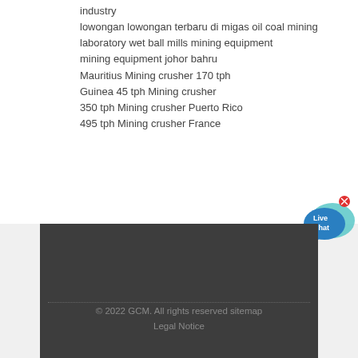industry
lowongan lowongan terbaru di migas oil coal mining
laboratory wet ball mills mining equipment
mining equipment johor bahru
Mauritius Mining crusher 170 tph
Guinea 45 tph Mining crusher
350 tph Mining crusher Puerto Rico
495 tph Mining crusher France
[Figure (illustration): Live Chat button widget with speech bubble icon in blue and teal, with a red close X button]
© 2022 GCM. All rights reserved sitemap
Legal Notice